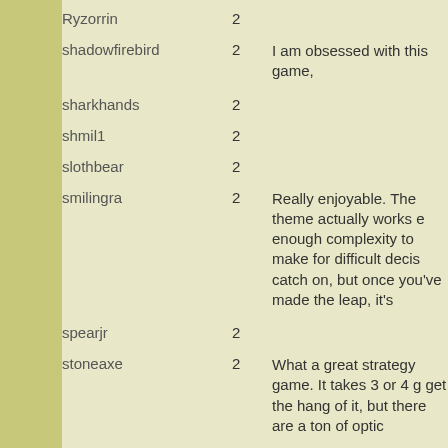Ryzorrin 2
shadowfirebird 2 | I am obsessed with this game,
sharkhands 2
shmil1 2
slothbear 2
smilingra 2 | Really enjoyable. The theme actually works e enough complexity to make for difficult decis catch on, but once you've made the leap, it's
spearjr 2
stoneaxe 2 | What a great strategy game. It takes 3 or 4 g get the hang of it, but there are a ton of optic
TeeTeeTee 2
toada 2
Trydnt 2
ts52 2
tudd 2 | Have not played on SDG yet, but this is one an icehouse set.
Twinsen 2